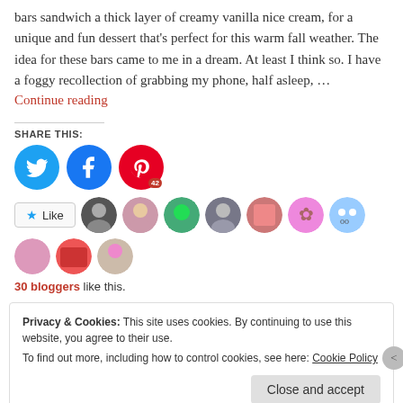bars sandwich a thick layer of creamy vanilla nice cream, for a unique and fun dessert that's perfect for this warm fall weather. The idea for these bars came to me in a dream. At least I think so. I have a foggy recollection of grabbing my phone, half asleep, …
Continue reading
SHARE THIS:
[Figure (infographic): Social share icons: Twitter (blue circle), Facebook (blue circle), Pinterest (red circle with 42 badge)]
[Figure (infographic): Like button and 10 blogger avatar thumbnails]
30 bloggers like this.
Privacy & Cookies: This site uses cookies. By continuing to use this website, you agree to their use.
To find out more, including how to control cookies, see here: Cookie Policy
Close and accept